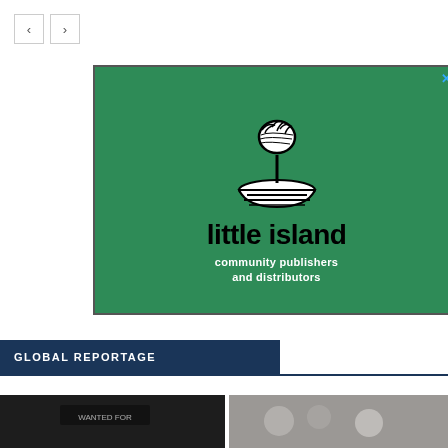[Figure (illustration): Navigation previous and next arrow buttons]
[Figure (logo): Little Island community publishers and distributors advertisement on green background with black and white logo of a hand dropping something into a striped boat]
GLOBAL REPORTAGE
[Figure (photo): Two photos at the bottom of the page partially visible, left shows a dark scene with a WANTED FOR sign, right shows people in a crowd]